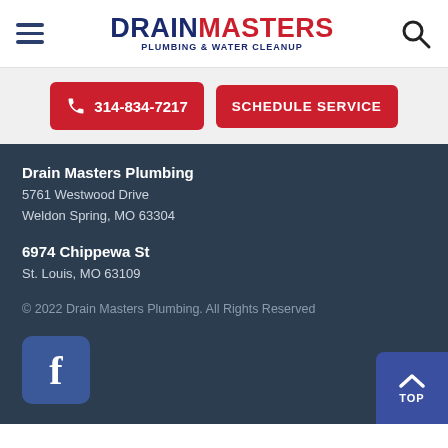[Figure (logo): DrainMasters Plumbing & Water Cleanup logo with hamburger menu and search icon in header]
314-834-7217
SCHEDULE SERVICE
Drain Masters Plumbing
5761 Westwood Drive
Weldon Spring, MO 63304
6974 Chippewa St
St. Louis, MO 63109
© 2022 Drain Masters Plumbing. All Rights Reserved
[Figure (logo): Facebook logo icon (white f on blue square background)]